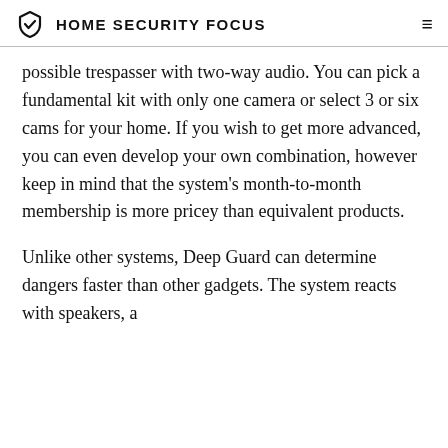HOME SECURITY FOCUS
possible trespasser with two-way audio. You can pick a fundamental kit with only one camera or select 3 or six cams for your home. If you wish to get more advanced, you can even develop your own combination, however keep in mind that the system's month-to-month membership is more pricey than equivalent products.
Unlike other systems, Deep Guard can determine dangers faster than other gadgets. The system reacts with speakers, a